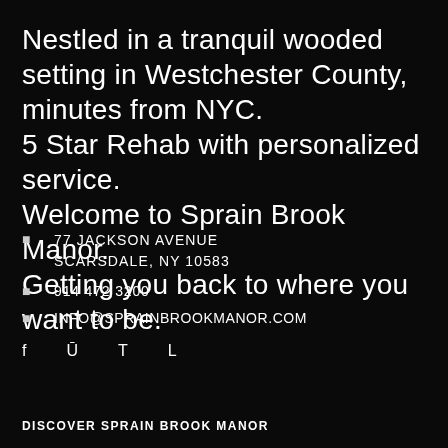Nestled in a tranquil wooded setting in Westchester County, minutes from NYC. 5 Star Rehab with personalized service. Welcome to Sprain Brook Manor. Getting you back to where you want to be.
77 JACKSON AVENUE SCARSDALE, NY 10583
914 472 3200
INFO@SPRAINBROOKMANOR.COM
f Ü T L
DISCOVER SPRAIN BROOK MANOR